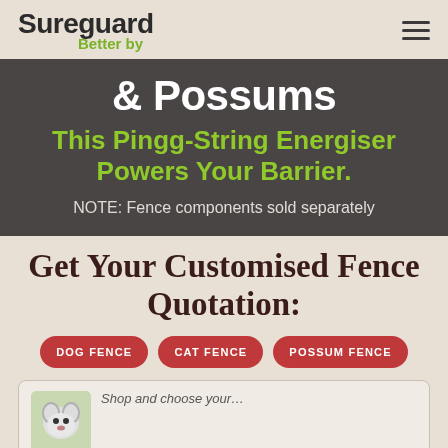Sureguard Better by
& Possums
This Pingg-String Energiser Powers Your Barrier.
NOTE: Fence components sold separately
Get Your Customised Fence Quotation:
DOG FENCE
CAT FENCE
POSSUM FENCE
[Figure (photo): Partial view of a possum image with a card section below]